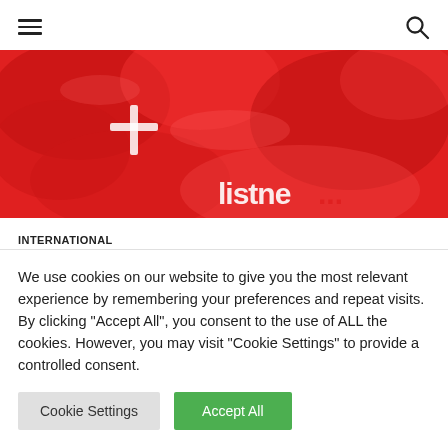Navigation header with menu icon and search icon
[Figure (photo): Red crumpled fabric or balloons with partial white text reading 'listne...' visible]
INTERNATIONAL
SNP's white paper will not deliver decisive change
We use cookies on our website to give you the most relevant experience by remembering your preferences and repeat visits. By clicking "Accept All", you consent to the use of ALL the cookies. However, you may visit "Cookie Settings" to provide a controlled consent.
Cookie Settings | Accept All